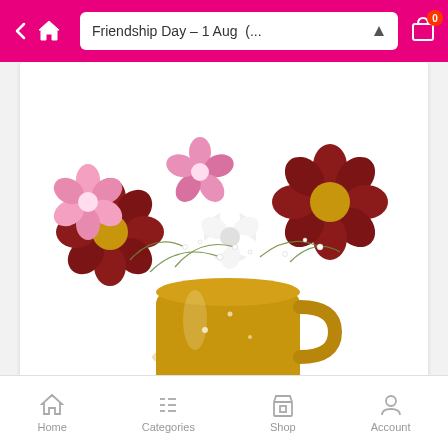Friendship Day – 1 Aug (...
[Figure (photo): Flower arrangement in a yellow/mustard mug with dark red and yellow daisy-like flowers, pink flowers, white roses, and baby's breath greenery against a white background]
SPARKLING CROWN
₹649.00 ₹699.00
[Figure (photo): Partially visible product image with Sale! badge, light green and yellow blurred background]
Home   Categories   Shop   Account